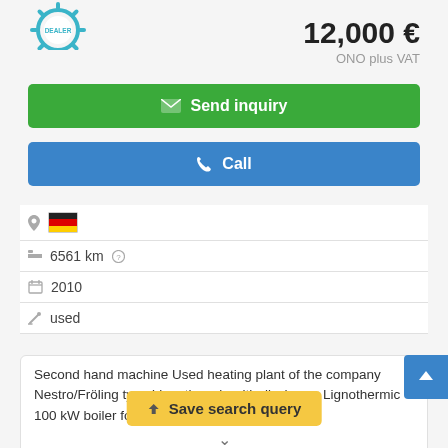[Figure (logo): Dealer badge logo in teal/blue gear shape]
12,000 €
ONO plus VAT
Send inquiry
Call
6561 km
2010
used
Second hand machine Used heating plant of the company Nestro/Fröling type Lignothermic with discharge Lignothermic 100 kW boiler for wood chips and pellets  y fe...
Save search query